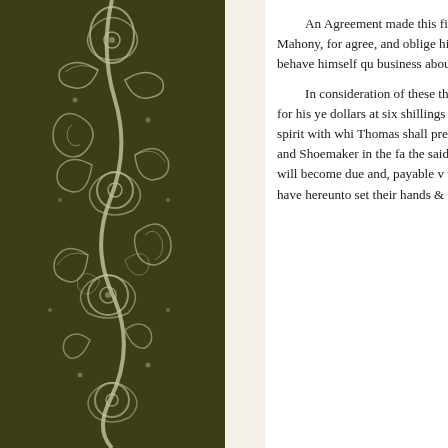[Figure (illustration): Decorative floral/paisley pattern on dark olive-brown background, white/cream botanical motifs with leaves, flowers, and curving vines. Occupies left portion of page.]
An Agreement made this first day of August An between George Washington of the County of Fairfa part, Witnesseth; that the said Thomas Mahony, for agree, and oblige himself to work one year from the House-Carpenter, Joiner, and (when not employed i about; and will, during said term, behave himself qu business about which he may be employed with dili

In consideration of these things well & truely pe Mahony, the said George Washington doth hereby o Thomas Mahony Thirty pounds in Specie for his ye dollars at six shillings each and other Gold and Silv Thomas Mahony with board, washing, and lodging will give him the same allowance of spirit with whi Thomas shall prefer it. That he will cause to be mad materials to be found by said Thomas) and will caus That whilst he has a Taylor and Shoemaker in the fa the said Thomas than his finding the materials, men moreover, will pay the publick taxes, and the Count exposed, and which will become due and, payable v will allow the said Thomas Mahony one day each q to provide himself with necessaries, and execute his the parties have hereunto set their hands & seals thi